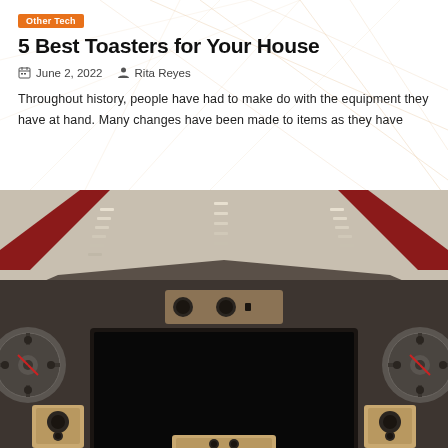Other Tech
5 Best Toasters for Your House
June 2, 2022   Rita Reyes
Throughout history, people have had to make do with the equipment they have at hand. Many changes have been made to items as they have
[Figure (photo): Home theater room with a large flat-screen TV mounted on a dark wall, a center channel speaker above it, film reel decorations on the wall, bookshelf speakers in the corners, and a ceiling with recessed lighting patterns. Red accent panels are visible on the upper sides.]